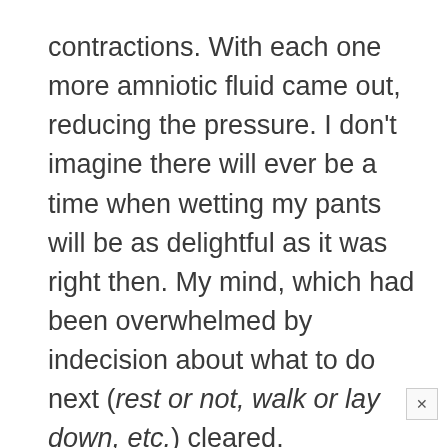contractions. With each one more amniotic fluid came out, reducing the pressure. I don't imagine there will ever be a time when wetting my pants will be as delightful as it was right then. My mind, which had been overwhelmed by indecision about what to do next (rest or not, walk or lay down, etc.) cleared.